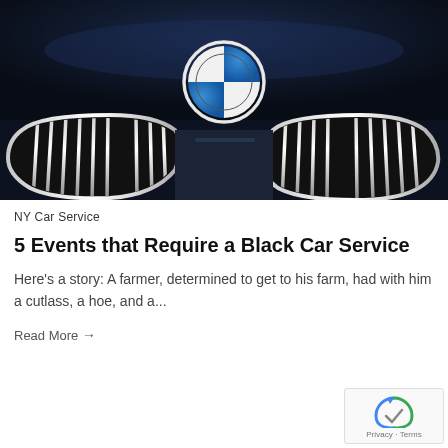[Figure (photo): Close-up photograph of a black BMW car front grille and hood, featuring the BMW blue-and-white roundel logo prominently in the center, with chrome kidney grille slats visible below.]
NY Car Service
5 Events that Require a Black Car Service
Here's a story: A farmer, determined to get to his farm, had with him a cutlass, a hoe, and a...
Read More →